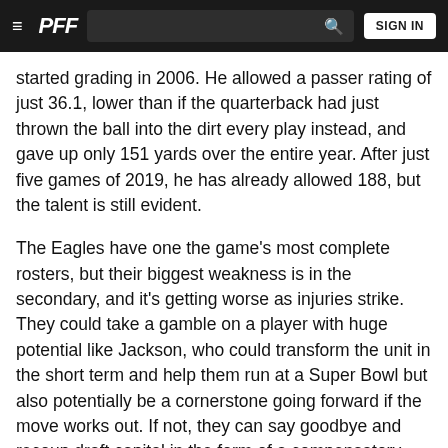PFF — SIGN IN
started grading in 2006. He allowed a passer rating of just 36.1, lower than if the quarterback had just thrown the ball into the dirt every play instead, and gave up only 151 yards over the entire year. After just five games of 2019, he has already allowed 188, but the talent is still evident.
The Eagles have one the game's most complete rosters, but their biggest weakness is in the secondary, and it's getting worse as injuries strike. They could take a gamble on a player with huge potential like Jackson, who could transform the unit in the short term and help them run at a Super Bowl but also potentially be a cornerstone going forward if the move works out. If not, they can say goodbye and recoup draft capital in the form of a compensatory pick if he signs elsewhere.